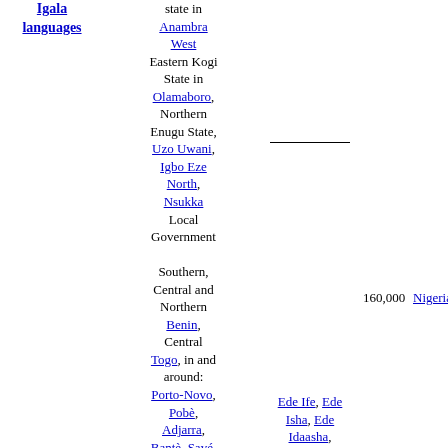| Language group | Language | Region/Location | Line | Speakers | Country |
| --- | --- | --- | --- | --- | --- |
| Igala languages | Ogugu | state in Anambra West
Eastern Kogi State in Olamaboro, Northern Enugu State, Uzo Uwani, Igbo Eze North, Nsukka Local Government
Southern, Central and Northern Benin, Central Togo, in and around: Porto-Novo, Pobè, Adjarra, Bantè, Savé, | ___ | 160,000 | Nigeria |
|  |  | Ede Ife, Ede Isha, Ede Idaasha, Ede Shabe... |  |  |  |